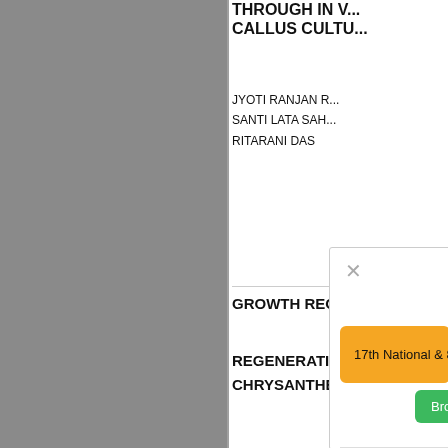THROUGH IN V... CALLUS CULTU...
JYOTI RANJAN R...
SANTI LATA SAH...
RITARANI DAS
[Figure (screenshot): Modal dialog overlay on webpage showing conference information with yellow banner '17th National & 8th International Confer...', green 'Broucher' button, red 'Registration F...' button, and yellow 'SPECIAL ISSUE' badge. Background shows text about GROWTH REGU..., REGENERATION..., CHRYSANTHEM..., DENDRANTHEM..., MORIFOLIUM..., THROUGH SHO..., CULTURE..., KASHIWASEBA..., MII AMARIS A... Modal contains invitation text: 'We invite researchers to... Convergence of M... Smart Agriculture: A... of Bio... Stresses which is int... modern technol...' Close button X visible.]
GROWTH REGU...
REGENERATION...
CHRYSANTHEM...
SPECIAL ISSUE
(DENDRANTHEM...
MORIFOLIUM Le...
THROUGH SHO...
CULTURE... of Bio...
KASHIWASEBA...
MII AMARIS A...
We invite researchers to... "Convergence of M... Smart Agriculture: A... CULTURE... of Bio... Stresses" which is int... modern technol...